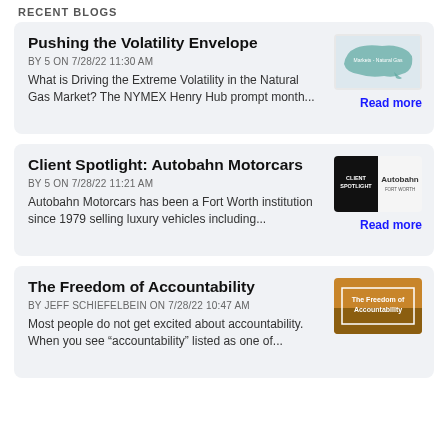RECENT BLOGS
Pushing the Volatility Envelope
BY 5 ON 7/28/22 11:30 AM
What is Driving the Extreme Volatility in the Natural Gas Market? The NYMEX Henry Hub prompt month...
Read more
Client Spotlight: Autobahn Motorcars
BY 5 ON 7/28/22 11:21 AM
Autobahn Motorcars has been a Fort Worth institution since 1979 selling luxury vehicles including...
Read more
The Freedom of Accountability
BY JEFF SCHIEFELBEIN ON 7/28/22 10:47 AM
Most people do not get excited about accountability. When you see “accountability” listed as one of...